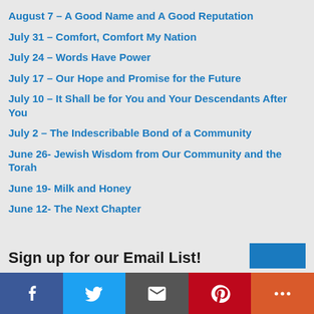August 7 – A Good Name and A Good Reputation
July 31 – Comfort, Comfort My Nation
July 24 – Words Have Power
July 17 – Our Hope and Promise for the Future
July 10 – It Shall be for You and Your Descendants After You
July 2 – The Indescribable Bond of a Community
June 26- Jewish Wisdom from Our Community and the Torah
June 19- Milk and Honey
June 12- The Next Chapter
Sign up for our Email List!